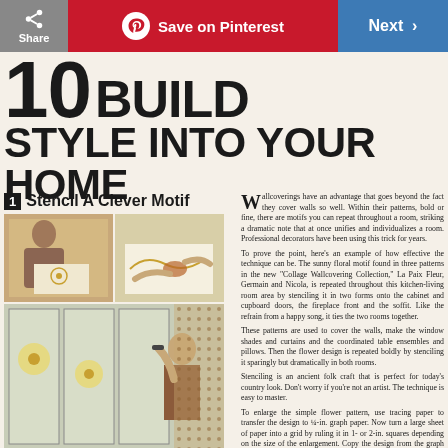Share | Save on Pinterest | Next
10 BUILD STYLE INTO YOUR HOME
1 Stencil A Clever Motif
[Figure (photo): Top-left: woman tracing floral stencil pattern on paper]
[Figure (photo): Top-right: hands working on stencil design on white surface]
[Figure (photo): Bottom: woman stenciling floral motif onto cabinet/wall panels]
Wallcoverings have an advantage that goes beyond the fact they cover walls so well. Within their patterns, bold or fine, there are motifs you can repeat throughout a room, striking a dramatic note that at once unifies and individualizes a room. Professional decorators have been using this trick for years. To prove the point, here's an example of how effective the technique can be. The sunny floral motif found in three patterns in the new "Collage Wallcovering Collection," La Paix Fleur, Germain and Nicola, is repeated throughout this kitchen-living room area by stenciling it in two forms onto the cabinet and cupboard doors, the fireplace front and the soffit. Like the refrain from a happy song, it ties the two rooms together. These patterns are used to cover the walls, make the window shades and curtains and the coordinated table ensembles and pillows. Then the flower design is repeated boldly by stenciling it sparingly but dramatically in both rooms. Stenciling is an ancient folk craft that is perfect for today's country look. Don't worry if you're not an artist. The technique is easy to master. To enlarge the simple flower pattern, use tracing paper to transfer the design to ¼-in. graph paper. Now turn a large sheet of paper into a grid by ruling it in 1- or 2-in. squares depending on the size of the enlargement. Copy the design from the graph paper onto the large grid.